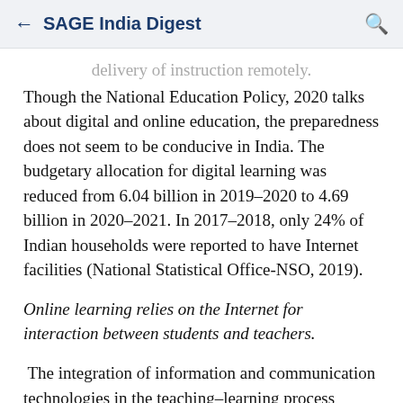← SAGE India Digest 🔍
…delivery of instruction remotely.
Though the National Education Policy, 2020 talks about digital and online education, the preparedness does not seem to be conducive in India. The budgetary allocation for digital learning was reduced from 6.04 billion in 2019–2020 to 4.69 billion in 2020–2021. In 2017–2018, only 24% of Indian households were reported to have Internet facilities (National Statistical Office-NSO, 2019).
Online learning relies on the Internet for interaction between students and teachers.
The integration of information and communication technologies in the teaching–learning process became a fundamental part of countries worldwide. The widespread expansion